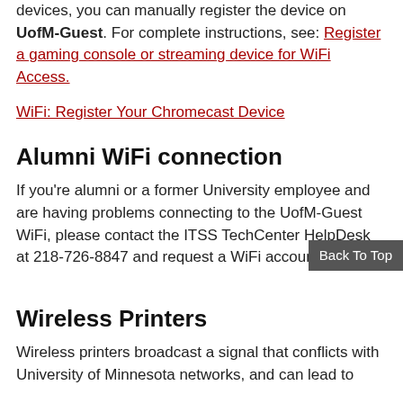devices, you can manually register the device on UofM-Guest. For complete instructions, see: Register a gaming console or streaming device for WiFi Access.
WiFi: Register Your Chromecast Device
Alumni WiFi connection
If you're alumni or a former University employee and are having problems connecting to the UofM-Guest WiFi, please contact the ITSS TechCenter HelpDesk at 218-726-8847 and request a WiFi account reset.
Wireless Printers
Wireless printers broadcast a signal that conflicts with University of Minnesota networks, and can lead to